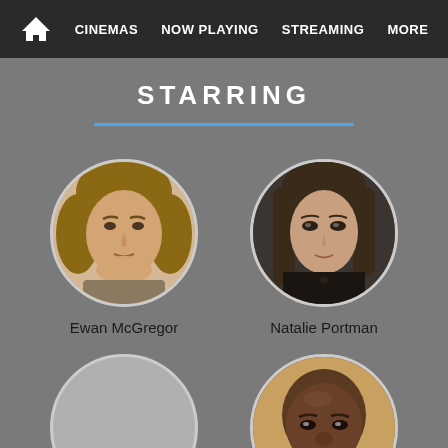CINEMAS  NOW PLAYING  STREAMING  MORE
STARRING
[Figure (photo): Circular portrait photo of Ewan McGregor, actor, with medium-length blonde hair, serious expression, against light background]
Ewan McGregor
[Figure (photo): Circular portrait photo of Natalie Portman, actress, with long brown hair, neutral expression, against dark background]
Natalie Portman
[Figure (photo): Circular portrait photo of bald Black male actor (Samuel L. Jackson), serious expression, against indoor background]
[Figure (photo): Empty circular placeholder with gray fill, no photo]